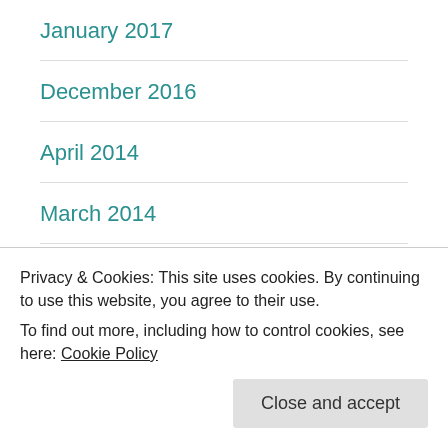January 2017
December 2016
April 2014
March 2014
February 2014
January 2014
September 2013
Privacy & Cookies: This site uses cookies. By continuing to use this website, you agree to their use.
To find out more, including how to control cookies, see here: Cookie Policy
May 2013